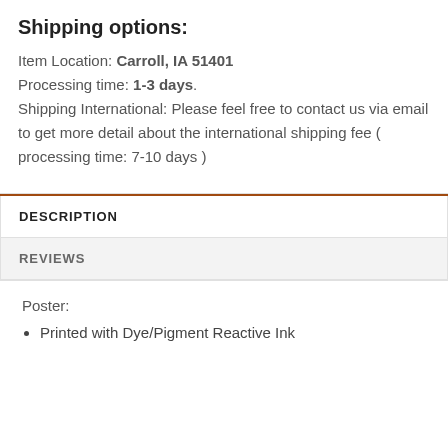Shipping options:
Item Location: Carroll, IA 51401
Processing time: 1-3 days.
Shipping International: Please feel free to contact us via email to get more detail about the international shipping fee ( processing time: 7-10 days )
| Tab |
| --- |
| DESCRIPTION |
| REVIEWS |
Poster:
Printed with Dye/Pigment Reactive Ink